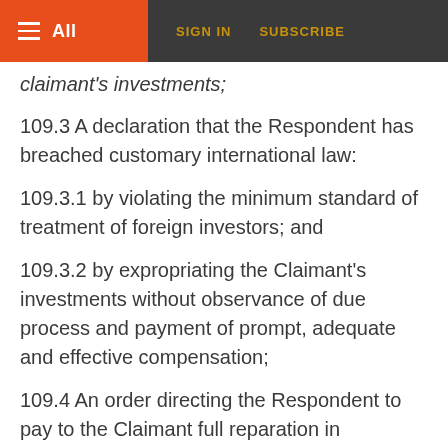All  SIGN IN  SUBSCRIBE
claimant's investments;
109.3 A declaration that the Respondent has breached customary international law:
109.3.1 by violating the minimum standard of treatment of foreign investors; and
109.3.2 by expropriating the Claimant's investments without observance of due process and payment of prompt, adequate and effective compensation;
109.4 An order directing the Respondent to pay to the Claimant full reparation in accordance with the BIT and customary